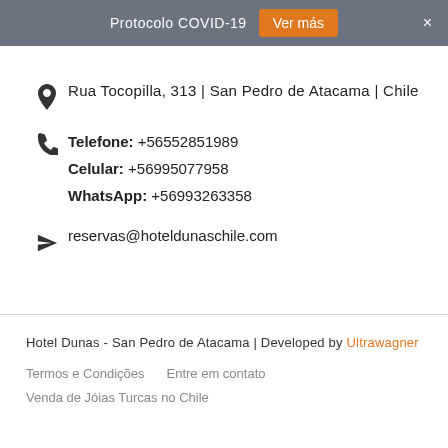Protocolo COVID-19  Ver más  ×
Rua Tocopilla, 313 | San Pedro de Atacama | Chile
Telefone: +56552851989
Celular: +56995077958
WhatsApp: +56993263358
reservas@hoteldunaschile.com
Hotel Dunas - San Pedro de Atacama | Developed by Ultrawagner
Termos e Condições
Entre em contato
Venda de Jóias Turcas no Chile